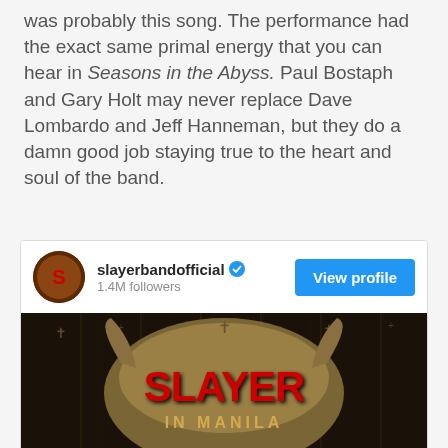was probably this song. The performance had the exact same primal energy that you can hear in Seasons in the Abyss. Paul Bostaph and Gary Holt may never replace Dave Lombardo and Jeff Hanneman, but they do a damn good job staying true to the heart and soul of the band.
[Figure (screenshot): Instagram social card for slayerbandofficial with 1.4M followers, showing a View Profile button, and a Slayer In Manila concert promotional image featuring skull/horror artwork with red Slayer logo text.]